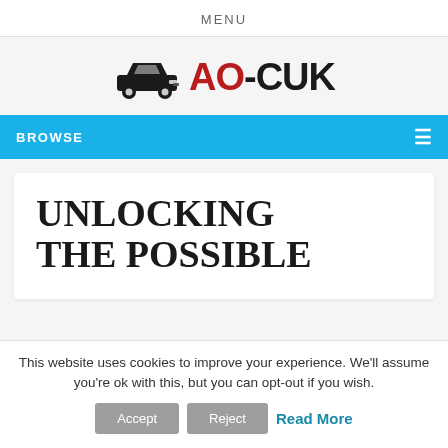MENU
[Figure (logo): AO-CUK logo with a car silhouette icon on the left and the text AO-CUK where AO is in red and CUK is in black bold font]
BROWSE
UNLOCKING THE POSSIBLE
This website uses cookies to improve your experience. We'll assume you're ok with this, but you can opt-out if you wish.
Accept  Reject  Read More